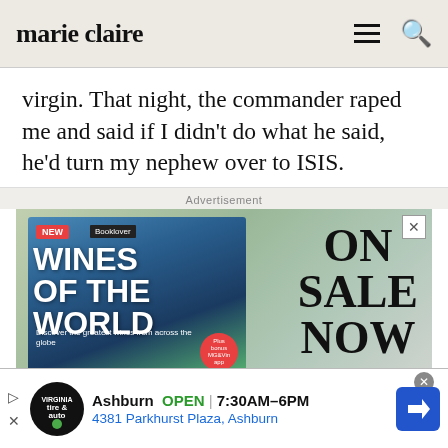marie claire
virgin. That night, the commander raped me and said if I didn't do what he said, he'd turn my nephew over to ISIS.
Advertisement
[Figure (photo): Advertisement image showing a 'Wines of the World' magazine with text 'ON SALE NOW' on the right side, set against a blurred outdoor background.]
[Figure (infographic): Bottom banner advertisement for Virginia Tire & Auto in Ashburn showing OPEN hours 7:30AM–6PM and address 4381 Parkhurst Plaza, Ashburn]